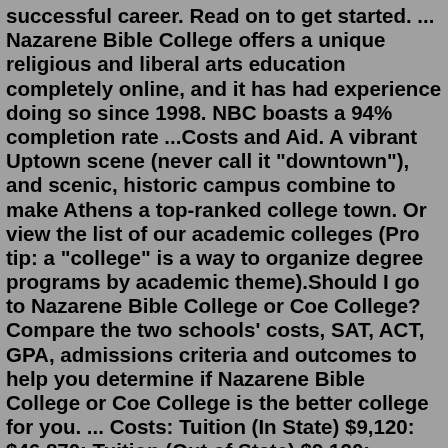successful career. Read on to get started. ... Nazarene Bible College offers a unique religious and liberal arts education completely online, and it has had experience doing so since 1998. NBC boasts a 94% completion rate ...Costs and Aid. A vibrant Uptown scene (never call it "downtown"), and scenic, historic campus combine to make Athens a top-ranked college town. Or view the list of our academic colleges (Pro tip: a "college" is a way to organize degree programs by academic theme).Should I go to Nazarene Bible College or Coe College? Compare the two schools' costs, SAT, ACT, GPA, admissions criteria and outcomes to help you determine if Nazarene Bible College or Coe College is the better college for you. ... Costs: Tuition (In State) $9,120: $46,870: Tuition (Out of State) $9,120: $46,870: Room & Board: $9,450: $10,174 ...Location. Cincinnati, OH. View School Profile. Founded in 1900 by a Methodist minister, God's Bible School and College is one of the nation's best online Bible colleges. With a rich tradition in Wesleyan-Arminian theology, the school offers